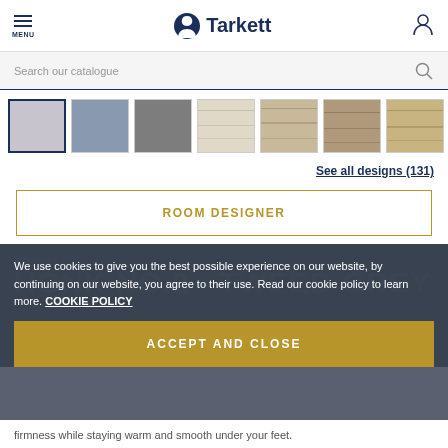MENU | Tarkett
Search our catalogue
[Figure (illustration): Row of flooring design swatches: light grey solid, blue-grey solid, medium grey solid, light wood grain, medium wood grain, brown wood grain, tan/beige wood grain]
See all designs (131)
ROOM DESIGNER
Residential Vinyl
HONK No.2 - TWEED GREY
We use cookies to give you the best possible experience on our website, by continuing on our website, you agree to their use. Read our cookie policy to learn more. COOKIE POLICY
ACCEPT AND CLOSE
firmness while staying warm and smooth under your feet.